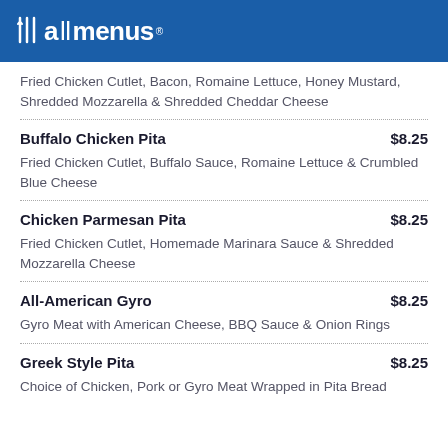allmenus
Fried Chicken Cutlet, Bacon, Romaine Lettuce, Honey Mustard, Shredded Mozzarella & Shredded Cheddar Cheese
Buffalo Chicken Pita $8.25 — Fried Chicken Cutlet, Buffalo Sauce, Romaine Lettuce & Crumbled Blue Cheese
Chicken Parmesan Pita $8.25 — Fried Chicken Cutlet, Homemade Marinara Sauce & Shredded Mozzarella Cheese
All-American Gyro $8.25 — Gyro Meat with American Cheese, BBQ Sauce & Onion Rings
Greek Style Pita $8.25 — Choice of Chicken, Pork or Gyro Meat Wrapped in Pita Bread